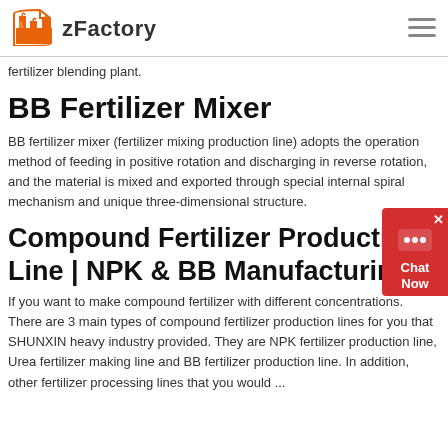zFactory
fertilizer blending plant.
BB Fertilizer Mixer
BB fertilizer mixer (fertilizer mixing production line) adopts the operation method of feeding in positive rotation and discharging in reverse rotation, and the material is mixed and exported through special internal spiral mechanism and unique three-dimensional structure.
Compound Fertilizer Production Line | NPK & BB Manufacturing
If you want to make compound fertilizer with different concentrations. There are 3 main types of compound fertilizer production lines for you that SHUNXIN heavy industry provided. They are NPK fertilizer production line, Urea fertilizer making line and BB fertilizer production line. In addition, other fertilizer processing lines that you would ...